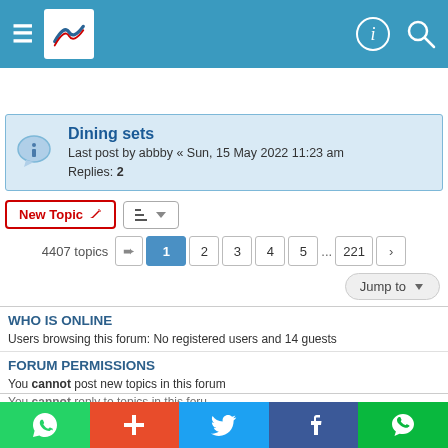Forum header navigation bar
Dining sets
Last post by abbby « Sun, 15 May 2022 11:23 am
Replies: 2
New Topic  |  Sort  4407 topics  1 2 3 4 5 ... 221
Jump to
WHO IS ONLINE
Users browsing this forum: No registered users and 14 guests
FORUM PERMISSIONS
You cannot post new topics in this forum
Social share bar: WhatsApp, Plus, Twitter, Facebook, WeChat